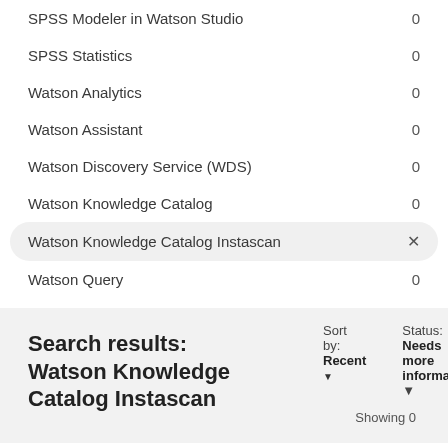SPSS Modeler in Watson Studio  0
SPSS Statistics  0
Watson Analytics  0
Watson Assistant  0
Watson Discovery Service (WDS)  0
Watson Knowledge Catalog  0
Watson Knowledge Catalog Instascan  ×
Watson Query  0
Search results: Watson Knowledge Catalog Instascan
Sort by: Recent ▾
Status: Needs more information ▾
Showing 0